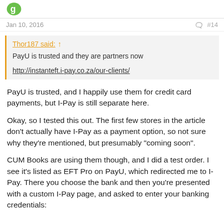[logo]
Jan 10, 2016   #14
Thor187 said:
PayU is trusted and they are partners now

http://instanteft.i-pay.co.za/our-clients/
PayU is trusted, and I happily use them for credit card payments, but I-Pay is still separate here.
Okay, so I tested this out. The first few stores in the article don't actually have I-Pay as a payment option, so not sure why they're mentioned, but presumably "coming soon".
CUM Books are using them though, and I did a test order. I see it's listed as EFT Pro on PayU, which redirected me to I-Pay. There you choose the bank and then you're presented with a custom I-Pay page, and asked to enter your banking credentials: